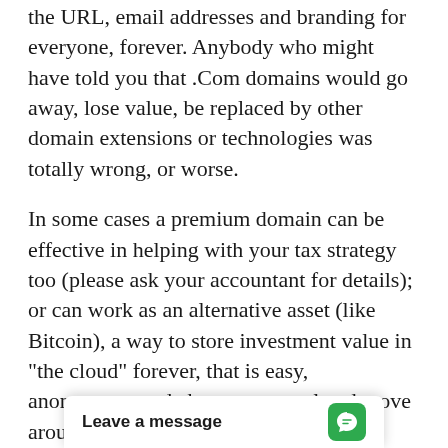the URL, email addresses and branding for everyone, forever. Anybody who might have told you that .Com domains would go away, lose value, be replaced by other domain extensions or technologies was totally wrong, or worse.
In some cases a premium domain can be effective in helping with your tax strategy too (please ask your accountant for details); or can work as an alternative asset (like Bitcoin), a way to store investment value in "the cloud" forever, that is easy, anonymous, and cheap to control and move around (ask a pro).
Each domain in our marketplace is individually valued based on a series of attributes, developed by professionals for over two decades. We are the primary dealer for every single fabulous .Com domain listed on our site. Any secondary.